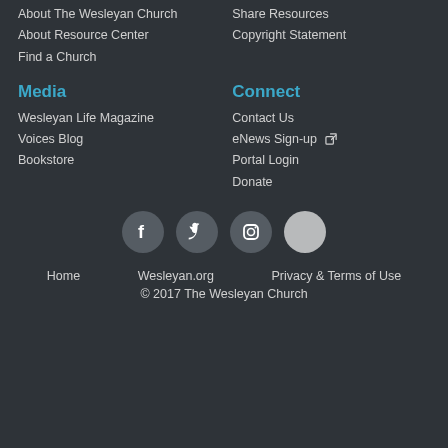About The Wesleyan Church
Share Resources
About Resource Center
Copyright Statement
Find a Church
Media
Connect
Wesleyan Life Magazine
Contact Us
Voices Blog
eNews Sign-up
Bookstore
Portal Login
Donate
[Figure (illustration): Social media icons: Facebook, Twitter, Instagram, and a fourth circular button]
Home   Wesleyan.org   Privacy & Terms of Use
© 2017 The Wesleyan Church